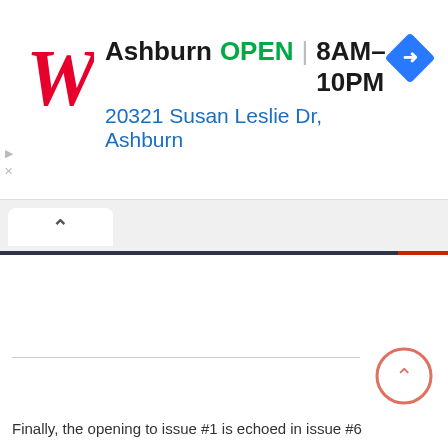[Figure (screenshot): Walgreens advertisement banner showing store in Ashburn, OPEN 8AM-10PM, address 20321 Susan Leslie Dr, Ashburn, with Walgreens script logo and blue navigation arrow diamond icon]
[Figure (screenshot): Browser chrome with tab showing a chevron/up-arrow icon, dark navy border bar with red accent on right]
[Figure (other): Scroll-to-top circular button with chevron up arrow in salmon/coral color]
Finally, the opening to issue #1 is echoed in issue #6